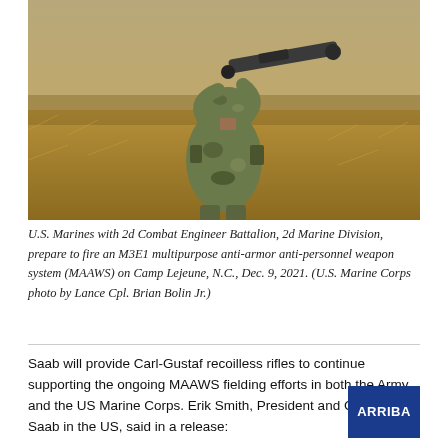[Figure (photo): A U.S. Marine in camouflage uniform aiming an M3E1 multipurpose anti-armor anti-personnel weapon system (MAAWS) on their shoulder in an outdoor field setting with dry grass in the background.]
U.S. Marines with 2d Combat Engineer Battalion, 2d Marine Division, prepare to fire an M3E1 multipurpose anti-armor anti-personnel weapon system (MAAWS) on Camp Lejeune, N.C., Dec. 9, 2021. (U.S. Marine Corps photo by Lance Cpl. Brian Bolin Jr.)
Saab will provide Carl-Gustaf recoilless rifles to continue supporting the ongoing MAAWS fielding efforts in both the Army and the US Marine Corps. Erik Smith, President and CEO of Saab in the US, said in a release:
“At Saab, we are always striving to support the